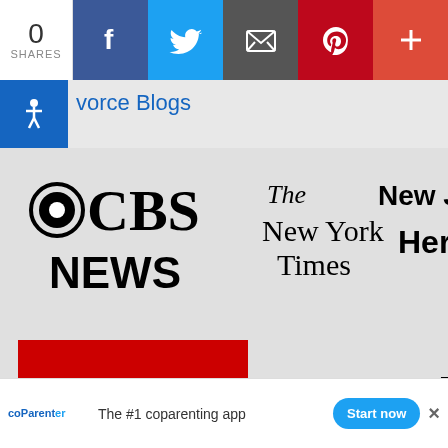[Figure (screenshot): Social sharing bar with share count 0, Facebook, Twitter, Email, Pinterest, and more buttons]
vorce Blogs
[Figure (logo): CBS News logo]
[Figure (logo): The New York Times logo]
[Figure (logo): New Jersey Herald logo]
[Figure (logo): CNN logo on red background]
[Figure (logo): Chicago Tribune logo]
[Figure (logo): The Washington Post logo]
[Figure (logo): Dallas Business Journal logo (partially visible)]
[Figure (logo): The Globe logo on red background (partially visible)]
[Figure (logo): National logo on yellow background (partially visible)]
coParenter — The #1 coparenting app — Start now